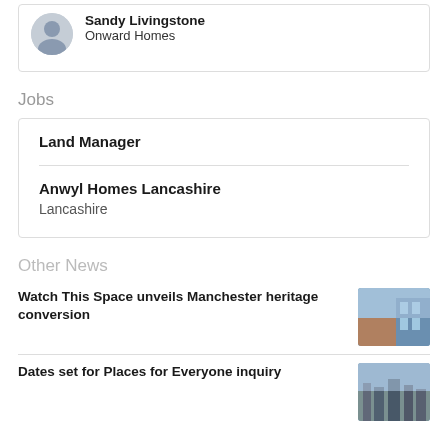[Figure (photo): Profile photo of Sandy Livingstone, circular headshot]
Sandy Livingstone
Onward Homes
Jobs
Land Manager
Anwyl Homes Lancashire
Lancashire
Other News
Watch This Space unveils Manchester heritage conversion
[Figure (photo): Photo of Manchester building, heritage conversion]
Dates set for Places for Everyone inquiry
[Figure (photo): Photo of city skyline, Places for Everyone inquiry]